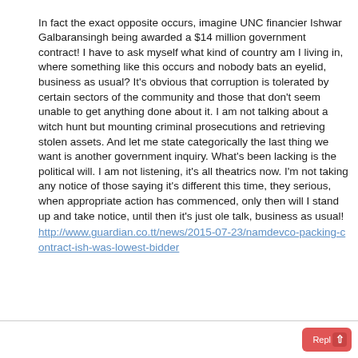In fact the exact opposite occurs, imagine UNC financier Ishwar Galbaransingh being awarded a $14 million government contract! I have to ask myself what kind of country am I living in, where something like this occurs and nobody bats an eyelid, business as usual? It's obvious that corruption is tolerated by certain sectors of the community and those that don't seem unable to get anything done about it. I am not talking about a witch hunt but mounting criminal prosecutions and retrieving stolen assets. And let me state categorically the last thing we want is another government inquiry. What's been lacking is the political will. I am not listening, it's all theatrics now. I'm not taking any notice of those saying it's different this time, they serious, when appropriate action has commenced, only then will I stand up and take notice, until then it's just ole talk, business as usual! http://www.guardian.co.tt/news/2015-07-23/namdevco-packing-contract-ish-was-lowest-bidder